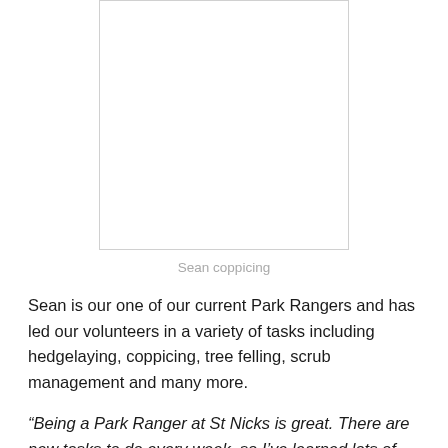[Figure (photo): Photo placeholder box showing Sean coppicing]
Sean coppicing
Sean is our one of our current Park Rangers and has led our volunteers in a variety of tasks including hedgelaying, coppicing, tree felling, scrub management and many more.
“Being a Park Ranger at St Nicks is great. There are new tasks to do every week, so I’ve learned lots of new skills and enjoy passing some of these on to others. It has also